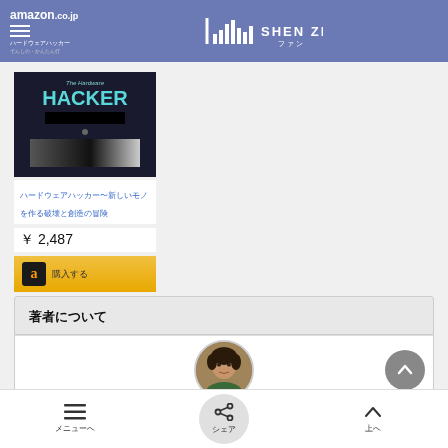[Figure (screenshot): Amazon.co.jp website header with hamburger menu and Shen Zhen logo on blue/purple background]
[Figure (photo): Book cover for The Hardware Hacker with dark background and teal text]
ハードウェアハッカー〜新しいモノを作る破壊と創造の冒険
￥ 2,487
購入する
著者について
[Figure (photo): Circular profile photo of a person]
メニューへ
シェア
上へ